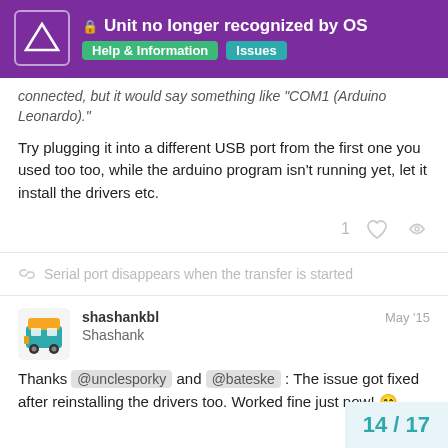Unit no longer recognized by OS — Help & Information | Issues
connected, but it would say something like "COM1 (Arduino Leonardo)."
Try plugging it into a different USB port from the first one you used too too, while the arduino program isn't running yet, let it install the drivers etc.
Serial port disappears when the transfer is started
shashankbl Shashank May '15
Thanks @unclesporky and @bateske : The issue got fixed after reinstalling the drivers too. Worked fine just now! 😁
14 / 17